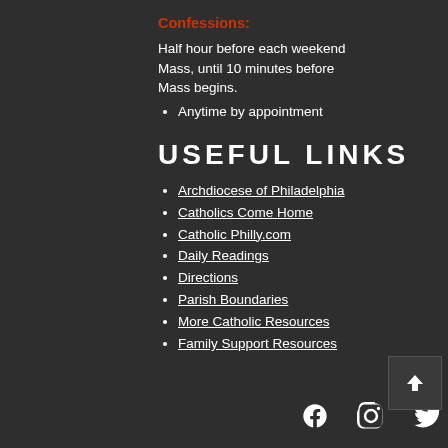Confessions:
Half hour before each weekend Mass, until 10 minutes before Mass begins.
Anytime by appointment
USEFUL LINKS
Archdiocese of Philadelphia
Catholics Come Home
Catholic Philly.com
Daily Readings
Directions
Parish Boundaries
More Catholic Resources
Family Support Resources
[Figure (illustration): Social media icons: Facebook, Instagram, Twitter]